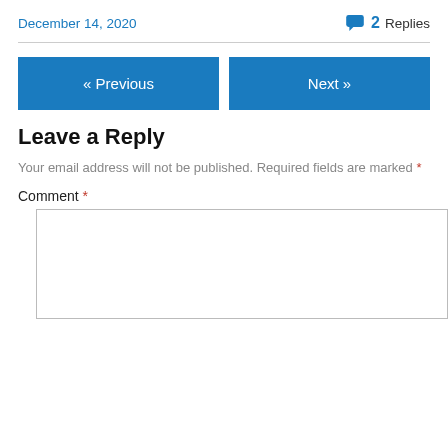December 14, 2020
💬 2 Replies
« Previous
Next »
Leave a Reply
Your email address will not be published. Required fields are marked *
Comment *